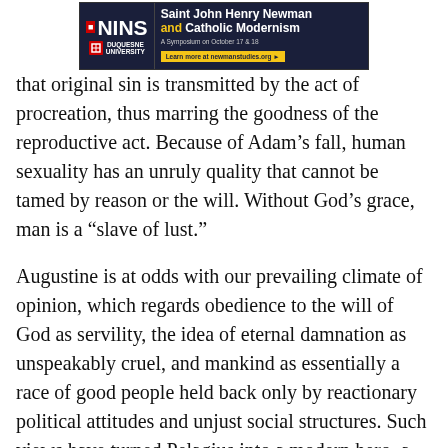[Figure (other): Banner advertisement for NINS symposium on Saint John Henry Newman and Catholic Modernism at Duquesne University, October 17 & 18. Learn more at newmanstudies.org]
that original sin is transmitted by the act of procreation, thus marring the goodness of the reproductive act. Because of Adam’s fall, human sexuality has an unruly quality that cannot be tamed by reason or the will. Without God’s grace, man is a “slave of lust.”
Augustine is at odds with our prevailing climate of opinion, which regards obedience to the will of God as servility, the idea of eternal damnation as unspeakably cruel, and mankind as essentially a race of good people held back only by reactionary political attitudes and unjust social structures. Such views have turned Pelagius into a modern hero, a progressive before his time. As Michael Axworthy wrote in the